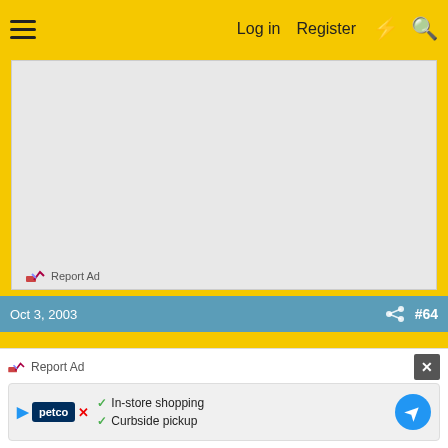Log in  Register
[Figure (other): Advertisement placeholder area (gray rectangle)]
Report Ad
Oct 3, 2003  #64
dfrisk
Well-known member
[Figure (other): Bottom ad bar with Petco ad: In-store shopping, Curbside pickup]